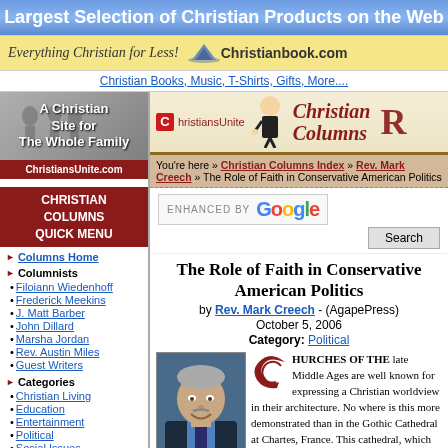Largest Selection of Christian Products on the Web
[Figure (logo): Christianbook.com banner: Everything Christian for Less! with mountain logo]
Christian Books, Music, T-Shirts, Gifts, More....
[Figure (logo): ChristiansUnite Christian Columns header with cartoon figure and logo]
You're here » Christian Columns Index » Rev. Mark Creech » The Role of Faith in Conservative American Politics
[Figure (screenshot): Enhanced by Google search bar]
[Figure (logo): A Christian Site for The Whole Family - ChristiansUnite.com sidebar logo]
CHRISTIAN COLUMNS QUICK MENU
Columns Home
Columnists
Filoiann Wiedenhoff
Frederick Meekins
J. Matt Barber
John Dillard
Marsha Jordan
Rev. Austin Miles
Guest Writers
Categories
Christian Living
Education
Entertainment
Political
Social Issues
Sports
The Role of Faith in Conservative American Politics
by Rev. Mark Creech - (AgapePress)
October 5, 2006
Category: Political
[Figure (photo): Photo of Rev. Mark Creech, a middle-aged man with gray hair and a blue shirt and tie, smiling]
CHURCHES OF THE late Middle Ages are well known for expressing a Christian worldview in their architecture. No where is this more demonstrated than in the Gothic Cathedral at Chartes, France. This cathedral, which was built during the 12th century, supposedly pictures the kingdom of heaven on earth